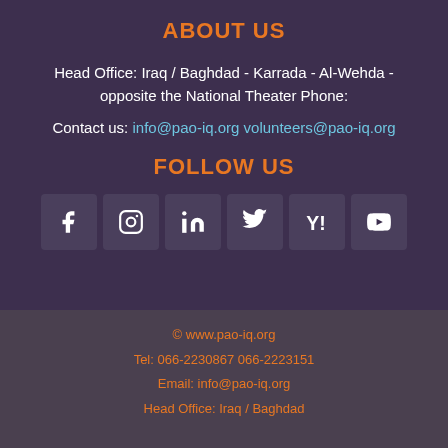ABOUT US
Head Office: Iraq / Baghdad - Karrada - Al-Wehda - opposite the National Theater Phone:
Contact us: info@pao-iq.org volunteers@pao-iq.org
FOLLOW US
[Figure (infographic): Six social media icon boxes: Facebook, Instagram, LinkedIn, Twitter, Yahoo, YouTube]
© www.pao-iq.org
Tel: 066-2230867 066-2223151
Email: info@pao-iq.org
Head Office: Iraq / Baghdad